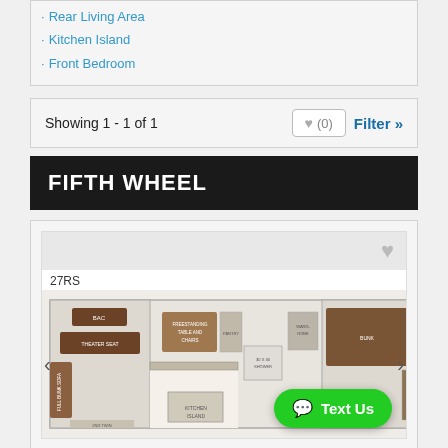Rear Living Area
Kitchen Island
Front Bedroom
Showing 1 - 1 of 1
FIFTH WHEEL
[Figure (illustration): Floor plan image of RV model 27RS with floorplan layout showing rear living area, theater seat, kitchen island, bunk, shower, and front bedroom. Navigation arrows on left and right sides.]
27RS
Text Us